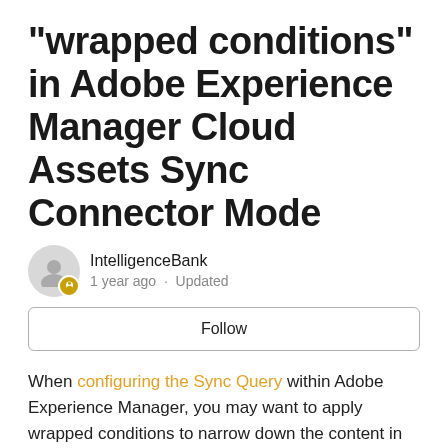"wrapped conditions" in Adobe Experience Manager Cloud Assets Sync Connector Mode
IntelligenceBank
1 year ago · Updated
Follow
When configuring the Sync Query within Adobe Experience Manager, you may want to apply wrapped conditions to narrow down the content in scope of the sync.